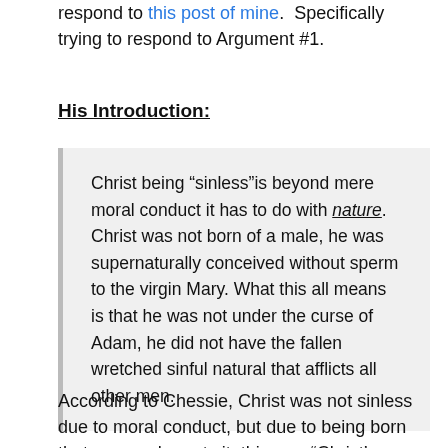respond to this post of mine.  Specifically trying to respond to Argument #1.
His Introduction:
Christ being “sinless”is beyond mere moral conduct it has to do with nature. Christ was not born of a male, he was supernaturally conceived without sperm to the virgin Mary. What this all means is that he was not under the curse of Adam, he did not have the fallen wretched sinful natural that afflicts all other men.
According to Chessie, Christ was not sinless due to moral conduct, but due to being born that way, as he puts it, this was “Christ’s nature”. I couldn’t agree more, it’s